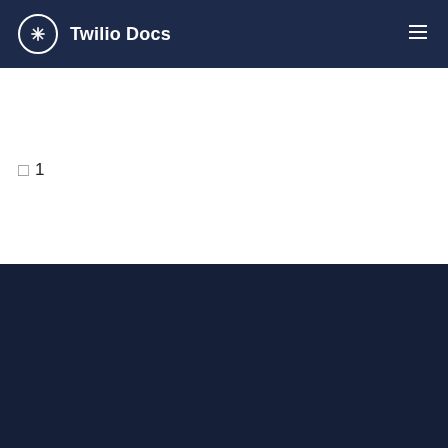Twilio Docs
1
Fetch Verification Attempts Summary
NODE.JS C# PHP RUBY PYTHON JAVA CURL TWILIO-CLI 3.X
[Figure (screenshot): Node.js code snippet showing how to fetch verification attempts summary using the Twilio helper library. Lines 1-3 are comments, lines 4-6 set up accountSid, authToken, and client, line 8 calls client.verify.v2.verificationAttemptsSummary(), line 9 calls .fetch()]